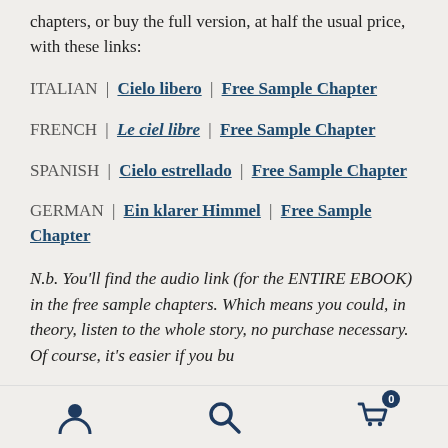chapters, or buy the full version, at half the usual price, with these links:
ITALIAN | Cielo libero | Free Sample Chapter
FRENCH | Le ciel libre | Free Sample Chapter
SPANISH | Cielo estrellado | Free Sample Chapter
GERMAN | Ein klarer Himmel | Free Sample Chapter
N.b. You'll find the audio link (for the ENTIRE EBOOK) in the free sample chapters. Which means you could, in theory, listen to the whole story, no purchase necessary. Of course, it's easier if you buy the full text
[user icon] [search icon] [cart icon with badge 0]